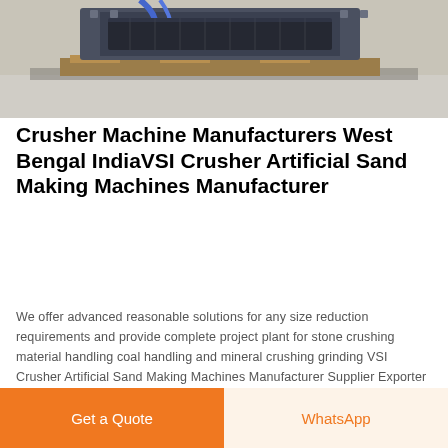[Figure (photo): Industrial crusher machine on a factory floor, mounted on wooden pallets, photographed in a workshop setting.]
Crusher Machine Manufacturers West Bengal IndiaVSI Crusher Artificial Sand Making Machines Manufacturer
We offer advanced reasonable solutions for any size reduction requirements and provide complete project plant for stone crushing material handling coal handling and mineral crushing grinding VSI Crusher Artificial Sand Making Machines Manufacturer Supplier Exporter India
Get Price
[Figure (photo): Pile of small crushed gravel/sand aggregate on a light background.]
Get a Quote
WhatsApp